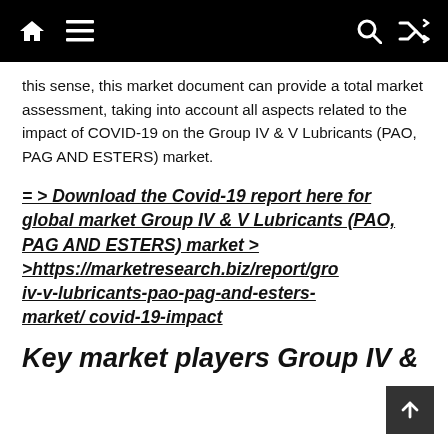[navigation bar with home, menu, search, shuffle icons]
this sense, this market document can provide a total market assessment, taking into account all aspects related to the impact of COVID-19 on the Group IV & V Lubricants (PAO, PAG AND ESTERS) market.
= > Download the Covid-19 report here for global market Group IV & V Lubricants (PAO, PAG AND ESTERS) market > >https://marketresearch.biz/report/group-iv-v-lubricants-pao-pag-and-esters-market/ covid-19-impact
Key market players Group IV &